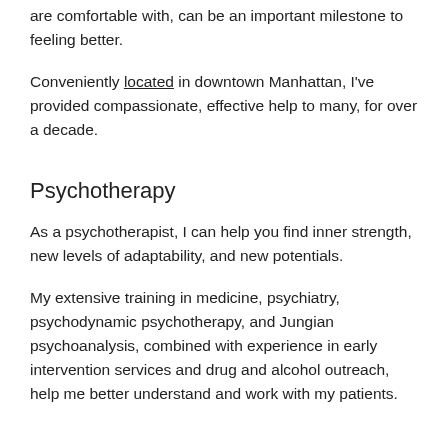are comfortable with, can be an important milestone to feeling better.
Conveniently located in downtown Manhattan, I've provided compassionate, effective help to many, for over a decade.
Psychotherapy
As a psychotherapist, I can help you find inner strength, new levels of adaptability, and new potentials.
My extensive training in medicine, psychiatry, psychodynamic psychotherapy, and Jungian psychoanalysis, combined with experience in early intervention services and drug and alcohol outreach, help me better understand and work with my patients.